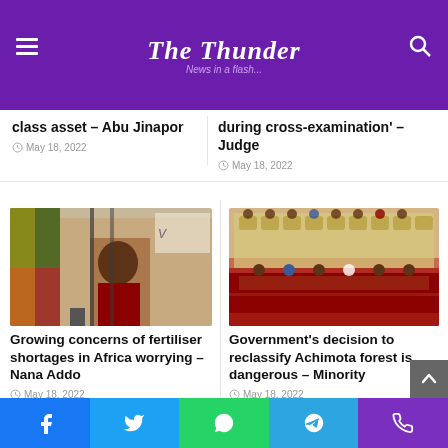The Thunder — News in a flash...
class asset – Abu Jinapor
May 18, 2022
during cross-examination' – Judge
May 18, 2022
[Figure (photo): Person speaking at a podium with flags in background]
Growing concerns of fertiliser shortages in Africa worrying – Nana Addo
May 18, 2022
[Figure (photo): Parliament session with people seated in legislative chamber]
Government's decision to reclassify Achimota forest is dangerous – Minority
May 18, 2022
Facebook Twitter WhatsApp Telegram Phone